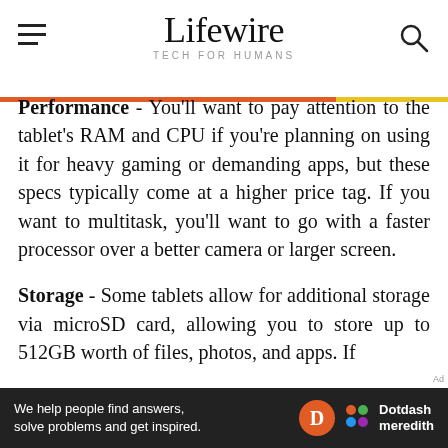Lifewire TECH FOR HUMANS
Performance - You'll want to pay attention to the tablet's RAM and CPU if you're planning on using it for heavy gaming or demanding apps, but these specs typically come at a higher price tag. If you want to multitask, you'll want to go with a faster processor over a better camera or larger screen.
Storage - Some tablets allow for additional storage via microSD card, allowing you to store up to 512GB worth of files, photos, and apps. If
We help people find answers, solve problems and get inspired. Dotdash meredith